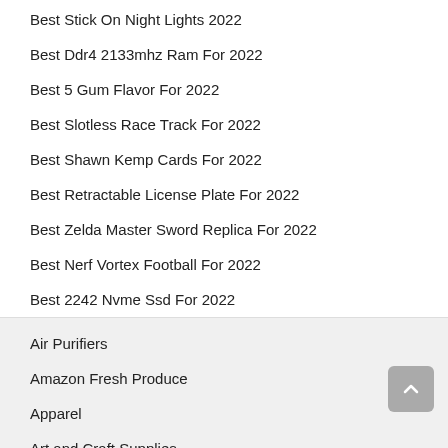Best Stick On Night Lights 2022
Best Ddr4 2133mhz Ram For 2022
Best 5 Gum Flavor For 2022
Best Slotless Race Track For 2022
Best Shawn Kemp Cards For 2022
Best Retractable License Plate For 2022
Best Zelda Master Sword Replica For 2022
Best Nerf Vortex Football For 2022
Best 2242 Nvme Ssd For 2022
Air Purifiers
Amazon Fresh Produce
Apparel
Art and Craft Supplies
Automotive Parts and Accessories